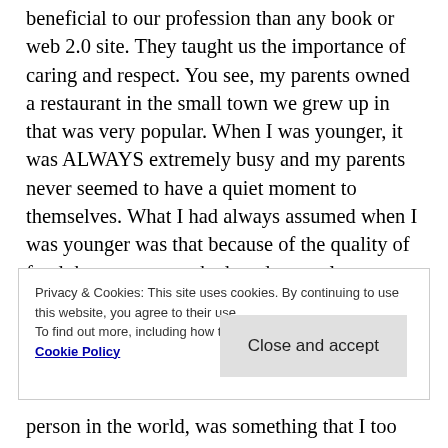beneficial to our profession than any book or web 2.0 site. They taught us the importance of caring and respect. You see, my parents owned a restaurant in the small town we grew up in that was very popular. When I was younger, it was ALWAYS extremely busy and my parents never seemed to have a quiet moment to themselves. What I had always assumed when I was younger was that because of the quality of food that my parents had made, people continuously would return. As I grew older, I know that this was only part of it.
Privacy & Cookies: This site uses cookies. By continuing to use this website, you agree to their use.
To find out more, including how to control cookies, see here: Cookie Policy
Close and accept
person in the world, was something that I too was